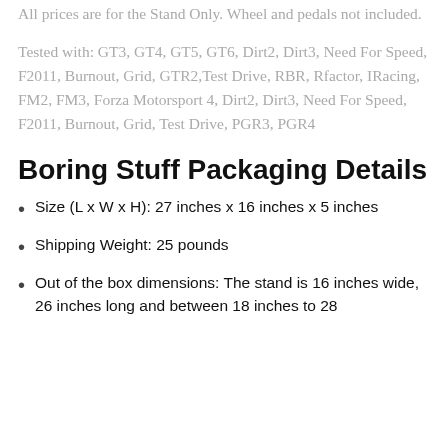All prices are for the Stand Only. Wheel and pedals not included.
Tested with: GT3, GT4, GT5, GT6, Dirt2, Dirt3, Need For Speed, F2011, Burnout, Grid, GTR2, Test Drive, RBR, Rfactor, IRacing, FM2, FM3, Forza Motorsport 4, Dirt2, Dirt3, Need For Speed, F2011, Burnout, Grid, Test Drive, PGR3, PGR4
Boring Stuff Packaging Details
Size (L x W x H): 27 inches x 16 inches x 5 inches
Shipping Weight: 25 pounds
Out of the box dimensions: The stand is 16 inches wide, 26 inches long and between 18 inches to 28